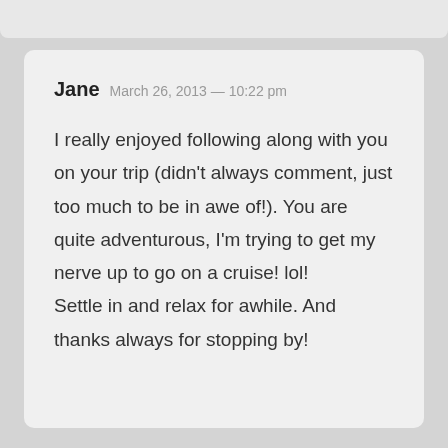Jane  March 26, 2013 — 10:22 pm
I really enjoyed following along with you on your trip (didn't always comment, just too much to be in awe of!). You are quite adventurous, I'm trying to get my nerve up to go on a cruise! lol!
Settle in and relax for awhile. And thanks always for stopping by!